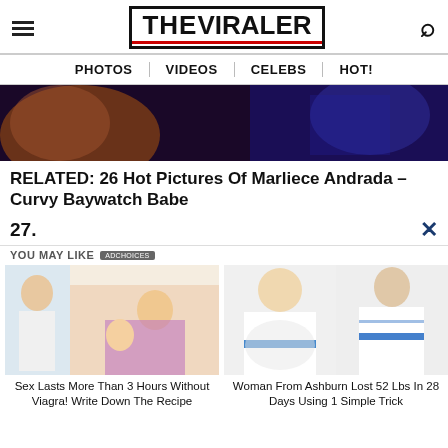THE VIRALER
PHOTOS | VIDEOS | CELEBS | HOT!
[Figure (photo): Partial photo of woman with dark hair and hand visible against dark blue background]
RELATED: 26 Hot Pictures Of Marliece Andrada – Curvy Baywatch Babe
27.
YOU MAY LIKE
[Figure (photo): Ad image: doctor and cartoon couple illustration]
Sex Lasts More Than 3 Hours Without Viagra! Write Down The Recipe
[Figure (photo): Ad image: two women in white and blue dresses, before and after weight loss]
Woman From Ashburn Lost 52 Lbs In 28 Days Using 1 Simple Trick